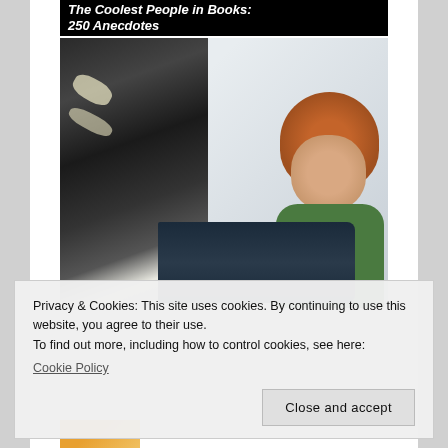The Coolest People in Books: 250 Anecdotes
[Figure (photo): A woman with red/auburn hair wearing a green turtleneck sweater reading a book, with a large sneaker/shoe visible in the foreground on the left side.]
Privacy & Cookies: This site uses cookies. By continuing to use this website, you agree to their use.
To find out more, including how to control cookies, see here:
Cookie Policy
Close and accept
[Figure (photo): Partial bottom image, appears orange/warm colored, cut off at bottom of page.]